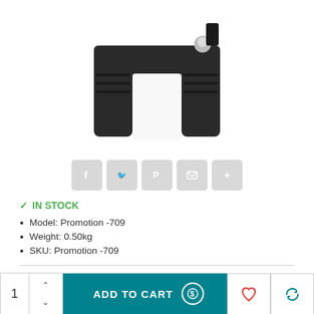[Figure (photo): Dark gray plastic clamp/clip hardware product on white background, viewed from below/front angle showing two prongs and a metal ball joint at top]
[Figure (infographic): Row of five social sharing buttons: Facebook (f), Twitter bird, Pinterest (P), Email (envelope), and plus (+) icons, all light gray rounded squares]
IN STOCK
Model: Promotion -709
Weight: 0.50kg
SKU: Promotion -709
$299.00
$44.85
1  ADD TO CART